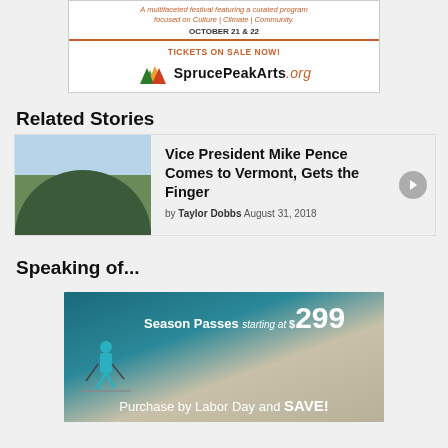[Figure (other): SpruceePeakArts.org advertisement banner showing festival information about Culture, Climate, Community on October 21 & 22, with tickets on sale now and logo with mountain peaks]
Related Stories
[Figure (photo): Photo of trees, green foliage with sky, associated with article about Vice President Mike Pence]
Vice President Mike Pence Comes to Vermont, Gets the Finger
by Taylor Dobbs August 31, 2018
Speaking of...
[Figure (other): Advertisement for season passes starting at $299, with skier image and text: Purchase by Labor Day and SAVE!]